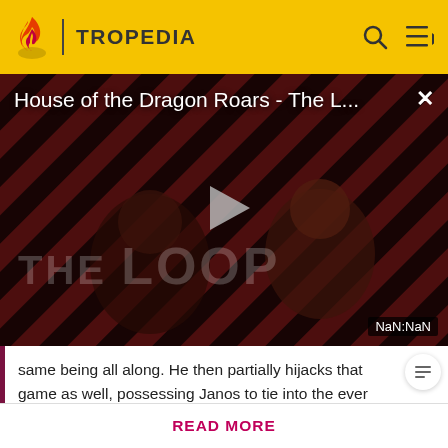TROPEDIA
[Figure (screenshot): Video player thumbnail showing 'House of the Dragon Roars - The L...' with a play button, diagonal red and black striped background with two figures visible, 'THE LOOP' text watermark, and a NaN:NaN timestamp in the bottom right. Has a close (×) button in the top right.]
same being all along. He then partially hijacks that game as well, possessing Janos to tie into the ever
Before making a single edit, Tropedia EXPECTS our site policy and manual of style to be followed. Failure to do so may
READ MORE